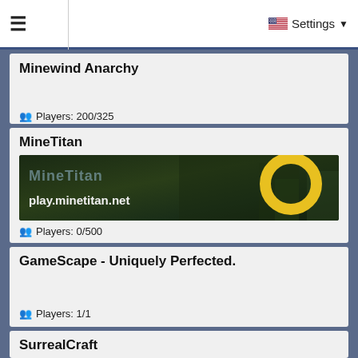≡  Settings ▼
Minewind Anarchy
👥 Players: 200/325
MineTitan
[Figure (screenshot): MineTitan server banner showing play.minetitan.net with dark forest background and yellow circle logo]
👥 Players: 0/500
GameScape - Uniquely Perfected.
👥 Players: 1/1
SurrealCraft